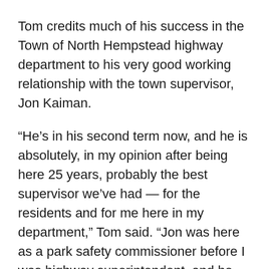Tom credits much of his success in the Town of North Hempstead highway department to his very good working relationship with the town supervisor, Jon Kaiman.
“He’s in his second term now, and he is absolutely, in my opinion after being here 25 years, probably the best supervisor we’ve had — for the residents and for me here in my department,” Tom said. “Jon was here as a park safety commissioner before I was highway superintendent, and he eventually became town supervisor. I worked very closely with him when he was a commissioner, and when he was elected supervisor and I was highway superintendent— he knew about me and he